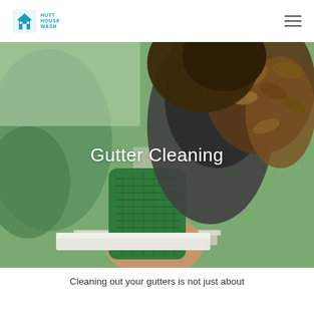Hutt House Wash
[Figure (photo): Close-up photo of a person wearing a green knit glove and a dark grey rubber glove clearing debris and dead leaves from a gutter. Background shows green trees and a suburban setting.]
Gutter Cleaning
Cleaning out your gutters is not just about